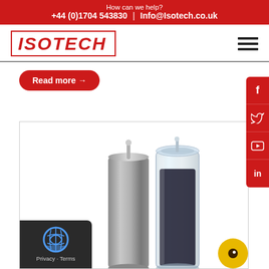How can we help? +44 (0)1704 543830 | Info@Isotech.co.uk
[Figure (logo): Isotech logo in red italic bold text inside a red rectangular border]
Read more →
[Figure (photo): Two calibration fixed-point cells: a silver/metallic cylindrical cell on the left and a transparent cylindrical cell filled with dark material on the right, shown against a white background inside a light-bordered rectangle]